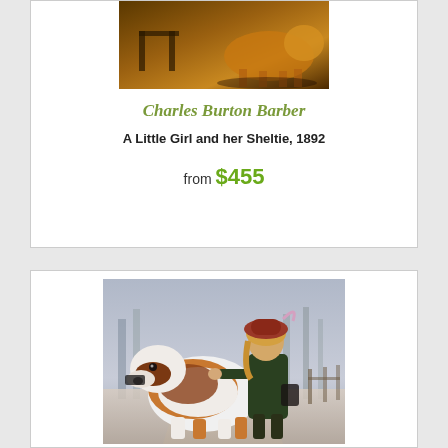[Figure (photo): Painting showing a golden/tan dog (Sheltie) with a wooden chair in the background, warm brown tones]
Charles Burton Barber
A Little Girl and her Sheltie, 1892
from $455
[Figure (photo): Painting of a young girl in a red/pink hat and dark coat walking with a large Saint Bernard dog in a wintry park setting]